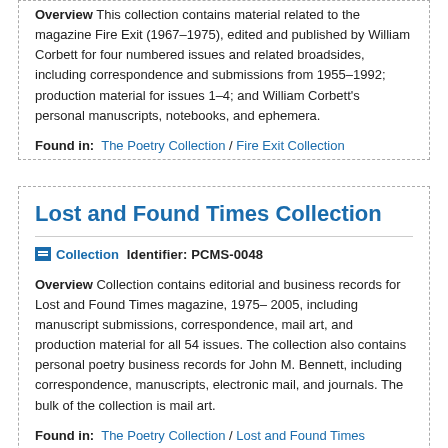Overview This collection contains material related to the magazine Fire Exit (1967–1975), edited and published by William Corbett for four numbered issues and related broadsides, including correspondence and submissions from 1955–1992; production material for issues 1–4; and William Corbett's personal manuscripts, notebooks, and ephemera.
Found in: The Poetry Collection / Fire Exit Collection
Lost and Found Times Collection
Collection  Identifier: PCMS-0048
Overview Collection contains editorial and business records for Lost and Found Times magazine, 1975–2005, including manuscript submissions, correspondence, mail art, and production material for all 54 issues. The collection also contains personal poetry business records for John M. Bennett, including correspondence, manuscripts, electronic mail, and journals. The bulk of the collection is mail art.
Found in: The Poetry Collection / Lost and Found Times Collection